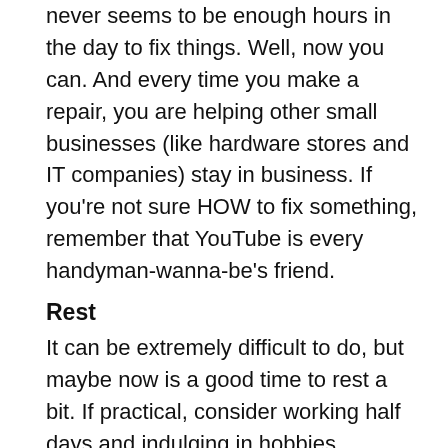never seems to be enough hours in the day to fix things. Well, now you can. And every time you make a repair, you are helping other small businesses (like hardware stores and IT companies) stay in business. If you're not sure HOW to fix something, remember that YouTube is every handyman-wanna-be's friend.
Rest
It can be extremely difficult to do, but maybe now is a good time to rest a bit. If practical, consider working half days and indulging in hobbies,